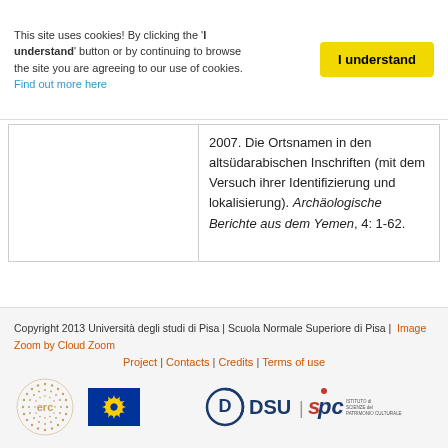This site uses cookies! By clicking the 'I understand' button or by continuing to browse the site you are agreeing to our use of cookies. Find out more here
I understand
2007. Die Ortsnamen in den altsüdarabischen Inschriften (mit dem Versuch ihrer Identifizierung und lokalisierung). Archäologische Berichte aus dem Yemen, 4: 1-62.
Copyright 2013 Università degli studi di Pisa | Scuola Normale Superiore di Pisa | Image Zoom by Cloud Zoom
Project | Contacts | Credits | Terms of use